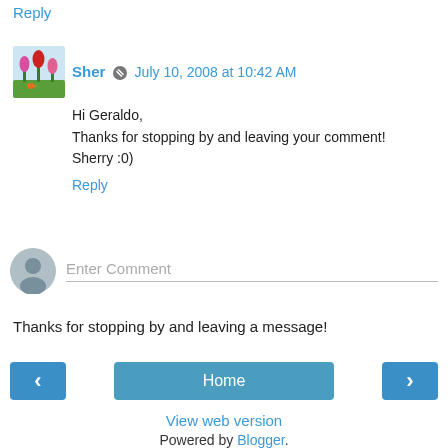Reply
Sher · July 10, 2008 at 10:42 AM
Hi Geraldo,
Thanks for stopping by and leaving your comment!
Sherry :0)
Reply
Enter Comment
Thanks for stopping by and leaving a message!
< Home >
View web version
Powered by Blogger.